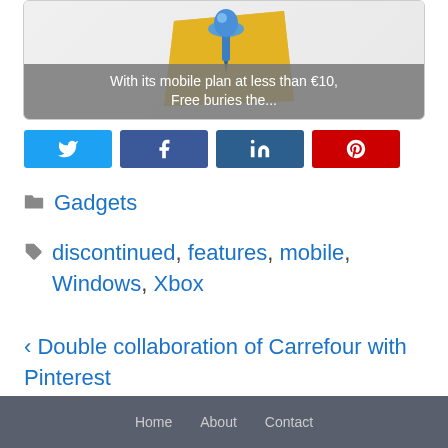[Figure (illustration): Article thumbnail card showing a pushpin icon on a yellow sticky note with caption overlay 'With its mobile plan at less than €10, Free buries the...']
With its mobile plan at less than €10, Free buries the...
[Figure (other): Social sharing buttons: Twitter (blue), Facebook (dark blue), LinkedIn (dark blue), Pinterest (red)]
Gadgets
discontinued, features, mobile, Windows, Xbox
< Double collaboration of Carrefour with Pinterest
Home   About   Contact